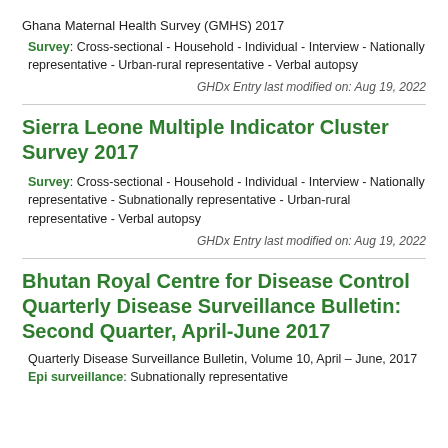Ghana Maternal Health Survey (GMHS) 2017
Survey: Cross-sectional - Household - Individual - Interview - Nationally representative - Urban-rural representative - Verbal autopsy
GHDx Entry last modified on: Aug 19, 2022
Sierra Leone Multiple Indicator Cluster Survey 2017
Survey: Cross-sectional - Household - Individual - Interview - Nationally representative - Subnationally representative - Urban-rural representative - Verbal autopsy
GHDx Entry last modified on: Aug 19, 2022
Bhutan Royal Centre for Disease Control Quarterly Disease Surveillance Bulletin: Second Quarter, April-June 2017
Quarterly Disease Surveillance Bulletin, Volume 10, April – June, 2017
Epi surveillance: Subnationally representative